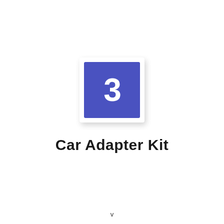[Figure (illustration): Blue square icon with number 3 in white, displayed on a white card with drop shadow]
Car Adapter Kit